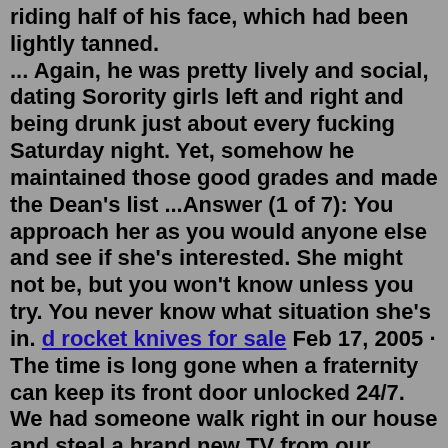riding half of his face, which had been lightly tanned. ... Again, he was pretty lively and social, dating Sorority girls left and right and being drunk just about every fucking Saturday night. Yet, somehow he maintained those good grades and made the Dean's list ...Answer (1 of 7): You approach her as you would anyone else and see if she's interested. She might not be, but you won't know unless you try. You never know what situation she's in. d rocket knives for sale Feb 17, 2005 · The time is long gone when a fraternity can keep its front door unlocked 24/7. We had someone walk right in our house and steal a brand new TV from our basement in broad daylight several years back. This theft pails in comparison to what happened (or could have happened) to this poor girl. Apr 25, 2018 · Now let me disclaim something here, I never have nor wanted to join a sorority, it's just not my thing. I'm a rugby player, I couldn't have told you the first thing about a sorority. After spending these past 6 months with her, I would like to share with you what it's been like to be in a relationship with a